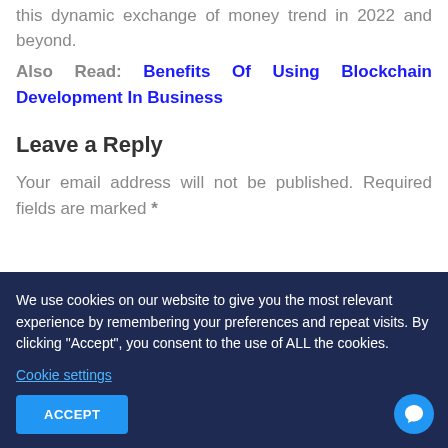this dynamic exchange of money trend in 2022 and beyond.
Also Read: Benefits Of Using Blockchain Development In Business
Leave a Reply
Your email address will not be published. Required fields are marked *
We use cookies on our website to give you the most relevant experience by remembering your preferences and repeat visits. By clicking "Accept", you consent to the use of ALL the cookies.
Cookie settings
ACCEPT